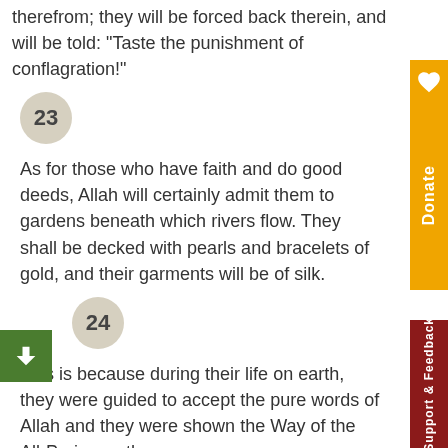therefrom; they will be forced back therein, and will be told: "Taste the punishment of conflagration!"
23
As for those who have faith and do good deeds, Allah will certainly admit them to gardens beneath which rivers flow. They shall be decked with pearls and bracelets of gold, and their garments will be of silk.
24
This is because during their life on earth, they were guided to accept the pure words of Allah and they were shown the Way of the All-Praiseworthy.
25
As for those who are unbelievers and debar others from the Way of Allah and from the Masjid-al-Haram, to which We have assigned all mankind with equal rights whether they are natives or foreigners, and